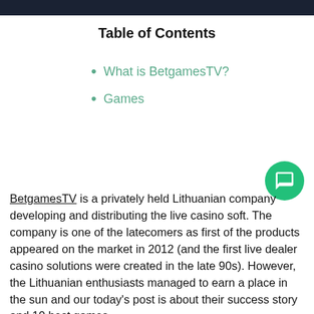Table of Contents
What is BetgamesTV?
Games
BetgamesTV is a privately held Lithuanian company developing and distributing the live casino soft. The company is one of the latecomers as first of the products appeared on the market in 2012 (and the first live dealer casino solutions were created in the late 90s). However, the Lithuanian enthusiasts managed to earn a place in the sun and our today's post is about their success story and 10 best games.